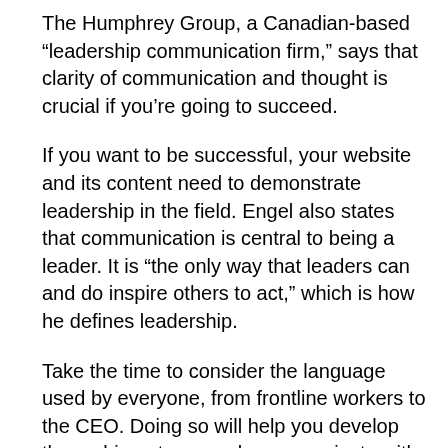The Humphrey Group, a Canadian-based “leadership communication firm,” says that clarity of communication and thought is crucial if you’re going to succeed.
If you want to be successful, your website and its content need to demonstrate leadership in the field. Engel also states that communication is central to being a leader. It is “the only way that leaders can and do inspire others to act,” which is how he defines leadership.
Take the time to consider the language used by everyone, from frontline workers to the CEO. Doing so will help you develop the verbiage to properly communicate with the people who want and need what your company offers.